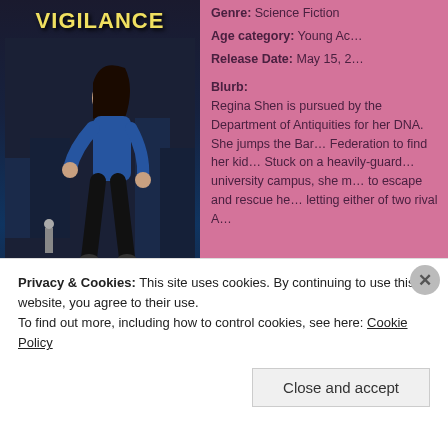[Figure (illustration): Book cover for 'Vigilance' by Lance Erlick. Shows a girl in a blue hoodie running, with a dark nighttime urban background. Author name 'Lance Erlick' at bottom.]
Genre: Science Fiction
Age category: Young Adult
Release Date: May 15, 2...
Blurb:
Regina Shen is pursued by the Department of Antiquities for her DNA. She jumps the Barrier into the Federation to find her kidnapped sister. Stuck on a heavily-guarded university campus, she must find a way to escape and rescue her sister without letting either of two rival Antiquities inspectors capture her.
Privacy & Cookies: This site uses cookies. By continuing to use this website, you agree to their use.
To find out more, including how to control cookies, see here: Cookie Policy
Close and accept